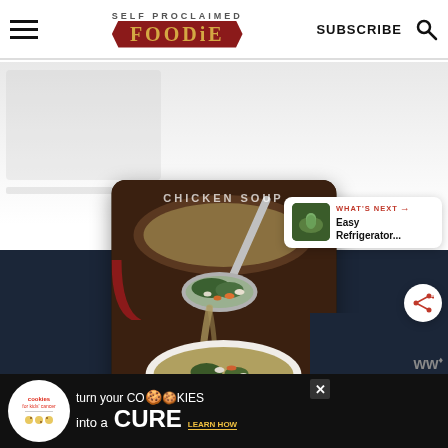SELF PROCLAIMED FOODIE — SUBSCRIBE
[Figure (photo): Food blog screenshot showing Self Proclaimed Foodie website header with hamburger menu, red banner logo, Subscribe text, and search icon]
[Figure (photo): Photo of chicken soup being ladled into a white bowl, with kale, carrots, white beans, and broth visible. Text overlay reads CHICKEN SOUP.]
[Figure (screenshot): What's Next panel showing thumbnail of Easy Refrigerator... recipe with red arrow label]
[Figure (photo): Advertisement banner: cookies for kids cancer - turn your COOKIES into a CURE LEARN HOW]